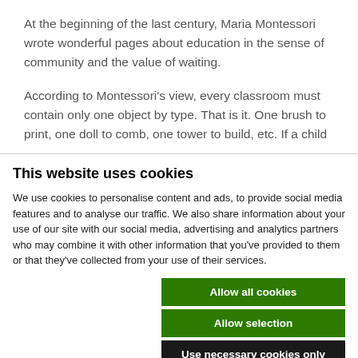At the beginning of the last century, Maria Montessori wrote wonderful pages about education in the sense of community and the value of waiting.
According to Montessori’s view, every classroom must contain only one object by type. That is it. One brush to print, one doll to comb, one tower to build, etc. If a child
This website uses cookies
We use cookies to personalise content and ads, to provide social media features and to analyse our traffic. We also share information about your use of our site with our social media, advertising and analytics partners who may combine it with other information that you’ve provided to them or that they’ve collected from your use of their services.
Allow all cookies
Allow selection
Use necessary cookies only
Necessary  Preferences  Statistics  Marketing  Show details